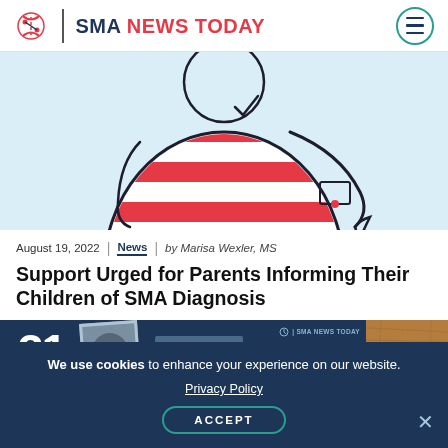SMA NEWS TODAY
[Figure (illustration): Illustration of a person in a red and white striped shirt being examined or assisted, on a light blue background — partial crop showing torso area]
August 19, 2022 | News | by Marisa Wexler, MS
Support Urged for Parents Informing Their Children of SMA Diagnosis
[Figure (infographic): Dark navy promotional banner with number 31, a photo thumbnail, white bar elements, and a cork texture on the right. SMA News Today logo visible.]
We use cookies to enhance your experience on our website.
Privacy Policy
ACCEPT